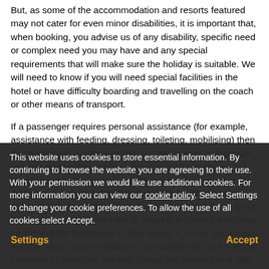But, as some of the accommodation and resorts featured may not cater for even minor disabilities, it is important that, when booking, you advise us of any disability, specific need or complex need you may have and any special requirements that will make sure the holiday is suitable. We will need to know if you will need special facilities in the hotel or have difficulty boarding and travelling on the coach or other means of transport.
If a passenger requires personal assistance (for example, assistance with feeding, dressing, toileting, mobilising) then this passenger must travel with an able-bodied companion or carer and written confirmation that such assistance will be provided for the entirety of the holiday is required at the time of booking. Coach drivers/representatives are unable to provide such assistance.
This website uses cookies to store essential information. By continuing to browse the website you are agreeing to their use. With your permission we would like use additional cookies. For more information you can view our cookie policy. Select Settings to change your cookie preferences. To allow the use of all cookies select Accept.